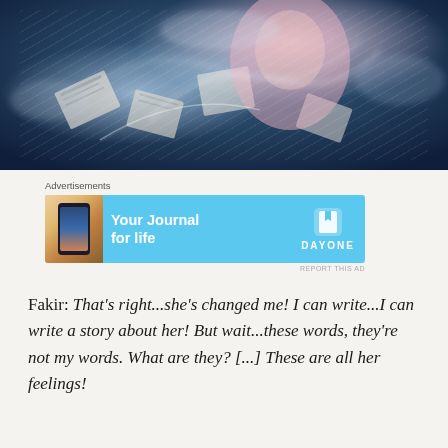[Figure (illustration): Anime-style illustration showing a character in pink and white outfit surrounded by swirling papers/letters with blue and misty background effects]
Advertisements
[Figure (screenshot): Advertisement banner for Day One journal app showing a phone with the app and text 'Your Journal for life' on a light blue background with Day One logo]
Fakir: That's right...she's changed me! I can write...I can write a story about her! But wait...these words, they're not my words. What are they? [...] These are all her feelings!